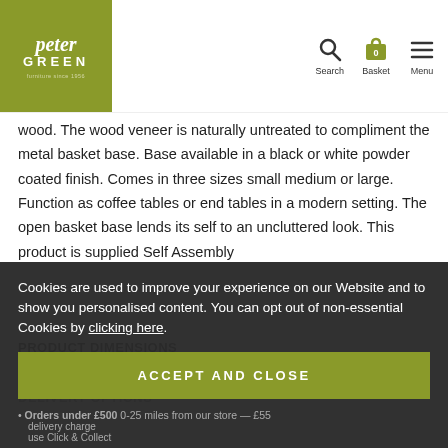Peter Green - furniture since 1956 | Search | Basket 0 | Menu
wood. The wood veneer is naturally untreated to compliment the metal basket base. Base available in a black or white powder coated finish. Comes in three sizes small medium or large. Function as coffee tables or end tables in a modern setting. The open basket base lends its self to an uncluttered look. This product is supplied Self Assembly
PRODUCT DIMENSIONS
(H)41cm × (W)35cm × (L)35cm
DELIVERY OPTIONS
Our friendly team will deliver all furniture products are delivered to your door, with items delivered on Mondays.
Orders under £500 0-25 miles from our store — £55 delivery charge
additional charge
use Click & Collect
Orders over £500
Cookies are used to improve your experience on our Website and to show you personalised content. You can opt out of non-essential Cookies by clicking here.
ACCEPT AND CLOSE